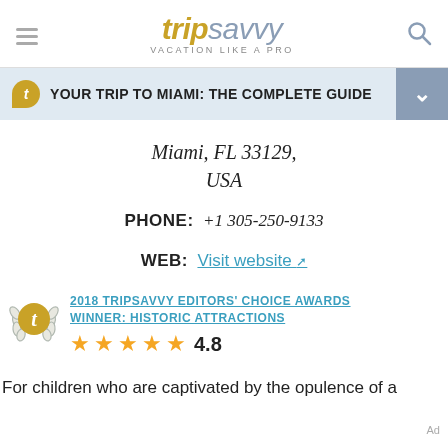tripsavvy VACATION LIKE A PRO
YOUR TRIP TO MIAMI: THE COMPLETE GUIDE
Miami, FL 33129, USA
PHONE: +1 305-250-9133
WEB: Visit website
2018 TRIPSAVVY EDITORS' CHOICE AWARDS WINNER: HISTORIC ATTRACTIONS
4.8
For children who are captivated by the opulence of a